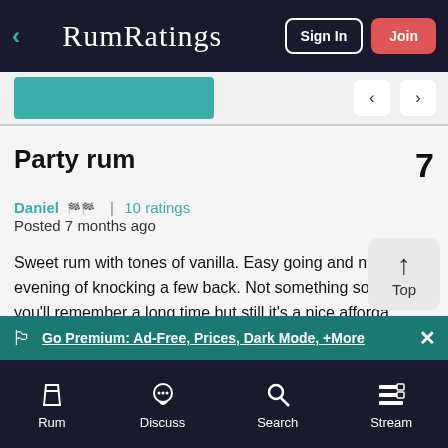RumRatings — Sign In | Join
Party rum
Daniel  🏁🏁  |  10 ratings
Posted 7 months ago
Sweet rum with tones of vanilla. Easy going and nice for an evening of knocking a few back. Not something something you'll remember a long time but still it's a nice affordable rum
Go Premium: Ad-Free, Prices, Dark Mode, +More
Rum  Discuss  Search  Stream